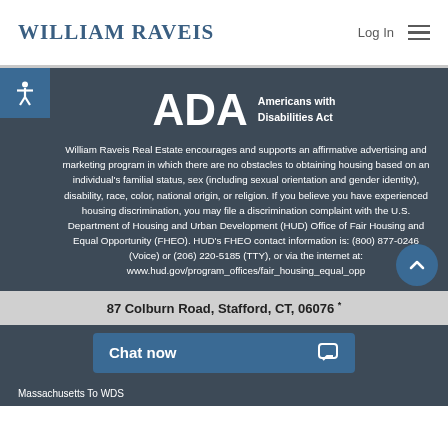WILLIAM RAVEIS | Log In
[Figure (logo): ADA Americans with Disabilities Act logo]
William Raveis Real Estate encourages and supports an affirmative advertising and marketing program in which there are no obstacles to obtaining housing based on an individual's familial status, sex (including sexual orientation and gender identity), disability, race, color, national origin, or religion. If you believe you have experienced housing discrimination, you may file a discrimination complaint with the U.S. Department of Housing and Urban Development (HUD) Office of Fair Housing and Equal Opportunity (FHEO). HUD's FHEO contact information is: (800) 877-0246 (Voice) or (206) 220-5185 (TTY), or via the internet at: www.hud.gov/program_offices/fair_housing_equal_opp
87 Colburn Road, Stafford, CT, 06076 *
Chat now
Massachusetts To WDS